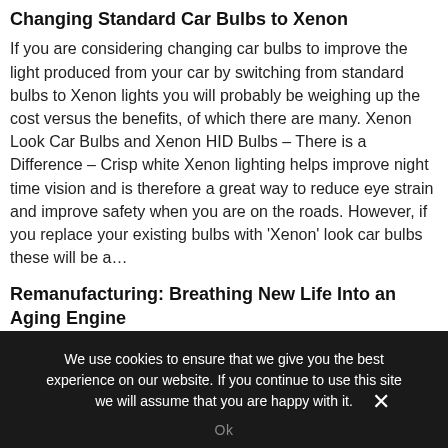Changing Standard Car Bulbs to Xenon
If you are considering changing car bulbs to improve the light produced from your car by switching from standard bulbs to Xenon lights you will probably be weighing up the cost versus the benefits, of which there are many. Xenon Look Car Bulbs and Xenon HID Bulbs – There is a Difference – Crisp white Xenon lighting helps improve night time vision and is therefore a great way to reduce eye strain and improve safety when you are on the roads. However, if you replace your existing bulbs with 'Xenon' look car bulbs these will be a…
Remanufacturing: Breathing New Life Into an Aging Engine
We use cookies to ensure that we give you the best experience on our website. If you continue to use this site we will assume that you are happy with it.
Ok